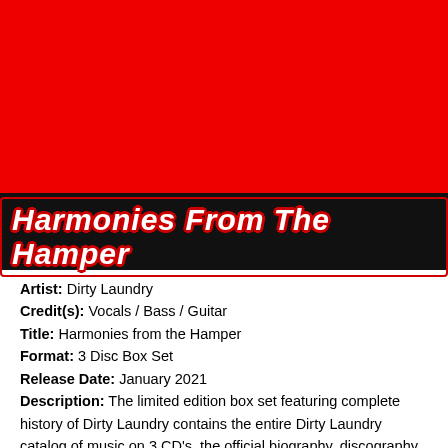[Figure (illustration): Album cover art for 'Harmonies From The Hamper' by Dirty Laundry. Red background taking up top portion, black stripe, then black band with the title 'Harmonies From The Hamper' in white bold italic text with red border/shadow.]
Artist: Dirty Laundry
Credit(s): Vocals / Bass / Guitar
Title: Harmonies from the Hamper
Format: 3 Disc Box Set
Release Date: January 2021
Description: The limited edition box set featuring complete history of Dirty Laundry contains the entire Dirty Laundry catalog of music on 3 CD's, the official biography, discography, member list and timeline.